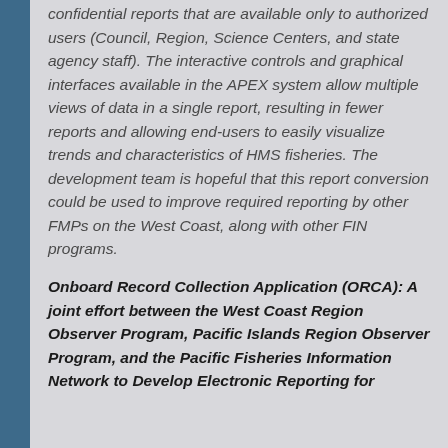confidential reports that are available only to authorized users (Council, Region, Science Centers, and state agency staff). The interactive controls and graphical interfaces available in the APEX system allow multiple views of data in a single report, resulting in fewer reports and allowing end-users to easily visualize trends and characteristics of HMS fisheries. The development team is hopeful that this report conversion could be used to improve required reporting by other FMPs on the West Coast, along with other FIN programs.
Onboard Record Collection Application (ORCA): A joint effort between the West Coast Region Observer Program, Pacific Islands Region Observer Program, and the Pacific Fisheries Information Network to Develop Electronic Reporting for